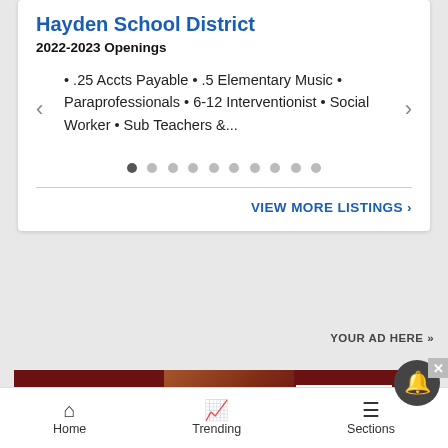Hayden School District
2022-2023 Openings
.25 Accts Payable • .5 Elementary Music • Paraprofessionals • 6-12 Interventionist • Social Worker • Sub Teachers &...
VIEW MORE LISTINGS ›
[Figure (screenshot): Macy's advertisement banner: 'KISS BORING LIPS GOODBYE' with SHOP NOW button and Macy's star logo]
Home  Trending  Sections